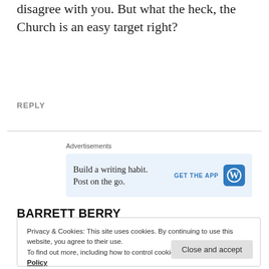disagree with you. But what the heck, the Church is an easy target right?
REPLY
Advertisements
[Figure (infographic): WordPress app advertisement banner: 'Build a writing habit. Post on the go.' with GET THE APP button and WordPress logo]
BARRETT BERRY
October 15, 2014 at 4:11 pm
Privacy & Cookies: This site uses cookies. By continuing to use this website, you agree to their use. To find out more, including how to control cookies, see here: Cookie Policy
Close and accept